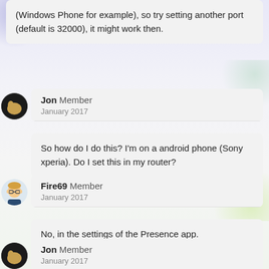(Windows Phone for example), so try setting another port (default is 32000), it might work then.
Jon Member
January 2017
So how do I do this? I'm on a android phone (Sony xperia). Do I set this in my router?
Fire69 Member
January 2017
No, in the settings of the Presence app.
Jon Member
January 2017